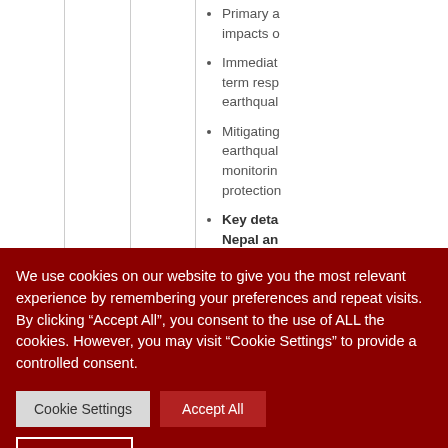Primary a... impacts o...
Immediat... term resp... earthqual...
Mitigating... earthqual... monitorin... protection...
Key deta... Nepal an...
We use cookies on our website to give you the most relevant experience by remembering your preferences and repeat visits. By clicking “Accept All”, you consent to the use of ALL the cookies. However, you may visit "Cookie Settings" to provide a controlled consent.